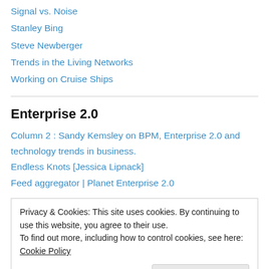Signal vs. Noise
Stanley Bing
Steve Newberger
Trends in the Living Networks
Working on Cruise Ships
Enterprise 2.0
Column 2 : Sandy Kemsley on BPM, Enterprise 2.0 and technology trends in business.
Endless Knots [Jessica Lipnack]
Feed aggregator | Planet Enterprise 2.0
Privacy & Cookies: This site uses cookies. By continuing to use this website, you agree to their use.
To find out more, including how to control cookies, see here: Cookie Policy
Dumb Little Man